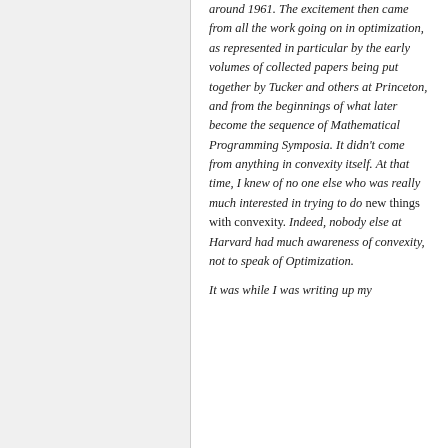around 1961. The excitement then came from all the work going on in optimization, as represented in particular by the early volumes of collected papers being put together by Tucker and others at Princeton, and from the beginnings of what later become the sequence of Mathematical Programming Symposia. It didn't come from anything in convexity itself. At that time, I knew of no one else who was really much interested in trying to do new things with convexity. Indeed, nobody else at Harvard had much awareness of convexity, not to speak of Optimization.

It was while I was writing up my